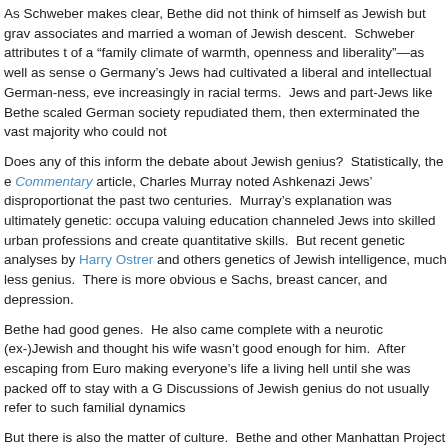As Schweber makes clear, Bethe did not think of himself as Jewish but grav associates and married a woman of Jewish descent. Schweber attributes t of a “family climate of warmth, openness and liberality”—as well as sense o Germany’s Jews had cultivated a liberal and intellectual German-ness, eve increasingly in racial terms. Jews and part-Jews like Bethe scaled German society repudiated them, then exterminated the vast majority who could not
Does any of this inform the debate about Jewish genius? Statistically, the e Commentary article, Charles Murray noted Ashkenazi Jews’ disproportionat the past two centuries. Murray’s explanation was ultimately genetic: occupa valuing education channeled Jews into skilled urban professions and create quantitative skills. But recent genetic analyses by Harry Ostrer and others genetics of Jewish intelligence, much less genius. There is more obvious e Sachs, breast cancer, and depression.
Bethe had good genes. He also came complete with a neurotic (ex-)Jewish and thought his wife wasn’t good enough for him. After escaping from Euro making everyone’s life a living hell until she was packed off to stay with a G Discussions of Jewish genius do not usually refer to such familial dynamics
But there is also the matter of culture. Bethe and other Manhattan Project J the true sense of the word, intellects far above the norm. But whatever thei broadly similar environments: families that were emancipated in the 19th ce Hungarian Empire and became partly or wholly assimilated. Two centuries the blat the have and his But if first the blot the first the After 20th